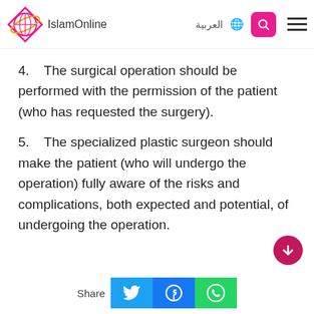IslamOnline | العربية
4.   The surgical operation should be performed with the permission of the patient (who has requested the surgery).
5.   The specialized plastic surgeon should make the patient (who will undergo the operation) fully aware of the risks and complications, both expected and potential, of undergoing the operation.